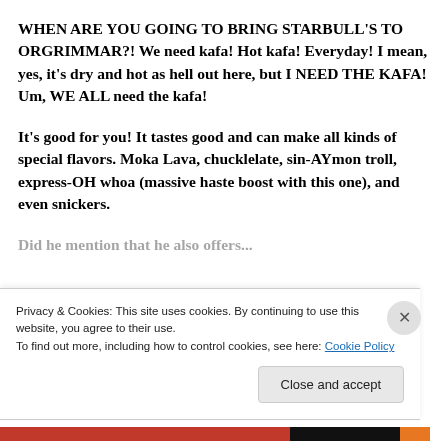WHEN ARE YOU GOING TO BRING STARBULL'S TO ORGRIMMAR?! We need kafa! Hot kafa! Everyday! I mean, yes, it's dry and hot as hell out here, but I NEED THE KAFA! Um, WE ALL need the kafa!
It's good for you! It tastes good and can make all kinds of special flavors. Moka Lava, chucklelate, sin-AYmon troll, express-OH whoa (massive haste boost with this one), and even snickers.
[partial text visible, cut off by cookie banner]
Privacy & Cookies: This site uses cookies. By continuing to use this website, you agree to their use.
To find out more, including how to control cookies, see here: Cookie Policy